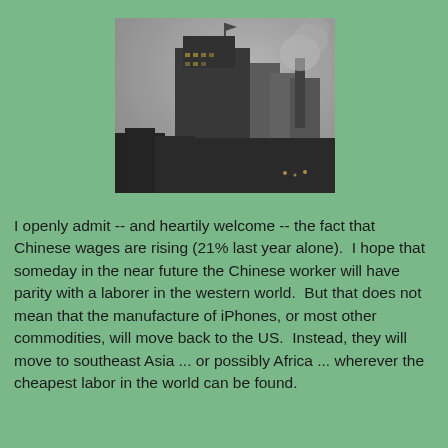[Figure (photo): Black and white photograph of an industrial cityscape with tall buildings and smoke stacks emitting smoke into a hazy sky]
I openly admit -- and heartily welcome -- the fact that Chinese wages are rising (21% last year alone).  I hope that someday in the near future the Chinese worker will have parity with a laborer in the western world.  But that does not mean that the manufacture of iPhones, or most other commodities, will move back to the US.  Instead, they will move to southeast Asia ... or possibly Africa ... wherever the cheapest labor in the world can be found.